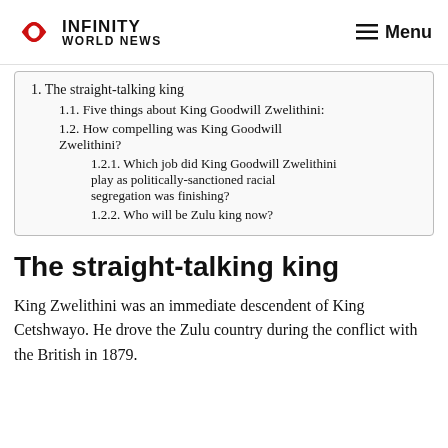INFINITY WORLD NEWS — Menu
1. The straight-talking king
1.1. Five things about King Goodwill Zwelithini:
1.2. How compelling was King Goodwill Zwelithini?
1.2.1. Which job did King Goodwill Zwelithini play as politically-sanctioned racial segregation was finishing?
1.2.2. Who will be Zulu king now?
The straight-talking king
King Zwelithini was an immediate descendent of King Cetshwayo. He drove the Zulu country during the conflict with the British in 1879.